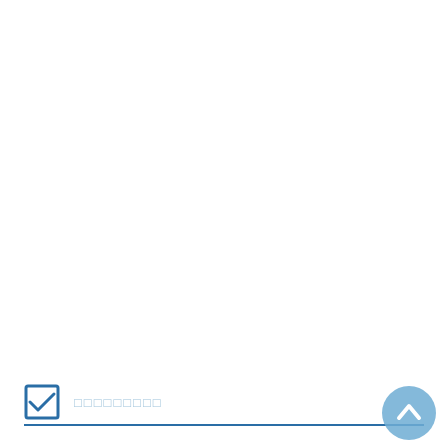□□□□□□□□□
[Figure (illustration): Blue circular back-to-top button with upward chevron arrow]